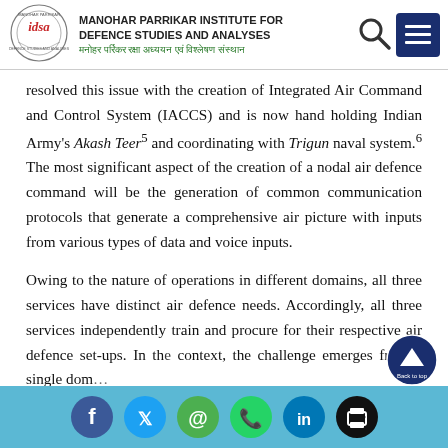MANOHAR PARRIKAR INSTITUTE FOR DEFENCE STUDIES AND ANALYSES | मनोहर पर्रिकर रक्षा अध्ययन एवं विश्लेषण संस्थान
resolved this issue with the creation of Integrated Air Command and Control System (IACCS) and is now hand holding Indian Army's Akash Teer5 and coordinating with Trigun naval system.6 The most significant aspect of the creation of a nodal air defence command will be the generation of common communication protocols that generate a comprehensive air picture with inputs from various types of data and voice inputs.

Owing to the nature of operations in different domains, all three services have distinct air defence needs. Accordingly, all three services independently train and procure for their respective air defence set-ups. In the context, the challenge emerges from a single dom…
Social share icons: Facebook, Twitter, Email, WhatsApp, LinkedIn, Print